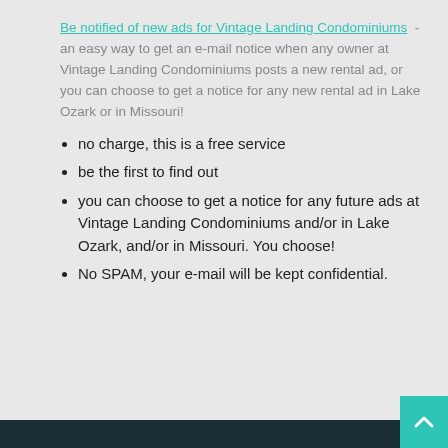Be notified of new ads for Vintage Landing Condominiums - an easy way to get an e-mail notice when any owner at Vintage Landing Condominiums posts a new rental ad, or you can choose to get a notice for any new rental ad in Lake Ozark or in Missouri!
no charge, this is a free service
be the first to find out
you can choose to get a notice for any future ads at Vintage Landing Condominiums and/or in Lake Ozark, and/or in Missouri. You choose!
No SPAM, your e-mail will be kept confidential.